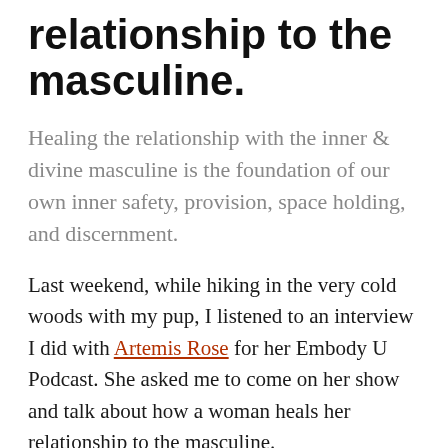relationship to the masculine.
Healing the relationship with the inner & divine masculine is the foundation of our own inner safety, provision, space holding, and discernment.
Last weekend, while hiking in the very cold woods with my pup, I listened to an interview I did with Artemis Rose for her Embody U Podcast. She asked me to come on her show and talk about how a woman heals her relationship to the masculine.
I actually really love this topic. As she says, it's